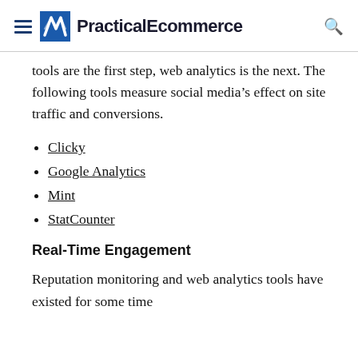PracticalEcommerce
tools are the first step, web analytics is the next. The following tools measure social media’s effect on site traffic and conversions.
Clicky
Google Analytics
Mint
StatCounter
Real-Time Engagement
Reputation monitoring and web analytics tools have existed for some time